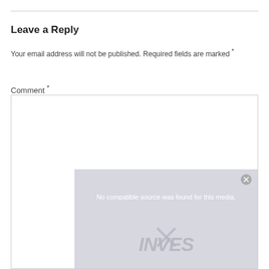Leave a Reply
Your email address will not be published. Required fields are marked *
Comment *
[Figure (screenshot): Comment text area input box with a media error overlay reading 'No compatible source was found for this media.' over a blurred investing-themed background with an X close button.]